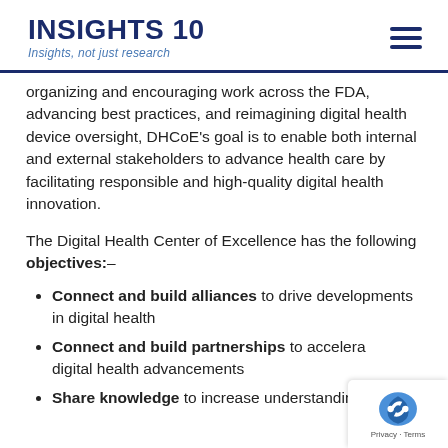INSIGHTS 10 — Insights, not just research
organizing and encouraging work across the FDA, advancing best practices, and reimagining digital health device oversight, DHCoE's goal is to enable both internal and external stakeholders to advance health care by facilitating responsible and high-quality digital health innovation.
The Digital Health Center of Excellence has the following objectives:–
Connect and build alliances to drive developments in digital health
Connect and build partnerships to accelerate digital health advancements
Share knowledge to increase understanding and